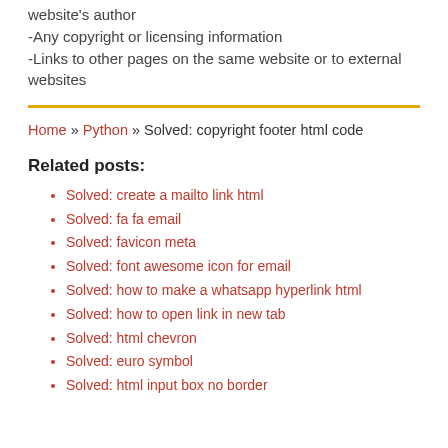website's author
-Any copyright or licensing information
-Links to other pages on the same website or to external websites
Home » Python » Solved: copyright footer html code
Related posts:
Solved: create a mailto link html
Solved: fa fa email
Solved: favicon meta
Solved: font awesome icon for email
Solved: how to make a whatsapp hyperlink html
Solved: how to open link in new tab
Solved: html chevron
Solved: euro symbol
Solved: html input box no border